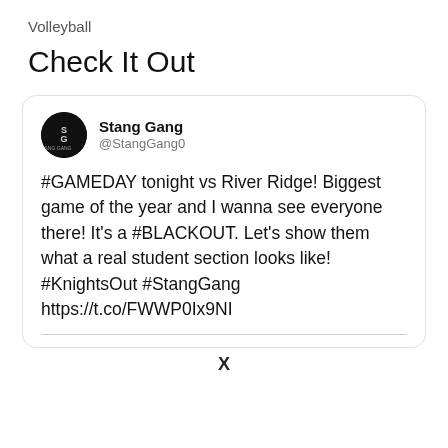Volleyball
Check It Out
[Figure (screenshot): Tweet from @StangGang0 (Stang Gang) with circular avatar showing SG logo. Tweet text: #GAMEDAY tonight vs River Ridge! Biggest game of the year and I wanna see everyone there! It's a #BLACKOUT. Let's show them what a real student section looks like! #KnightsOut #StangGang https://t.co/FWWP0Ix9NI]
X